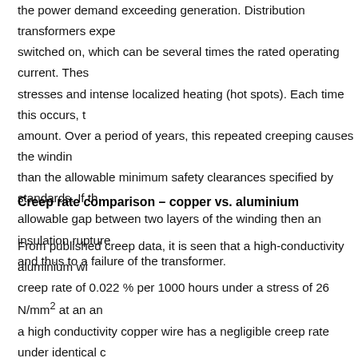the power demand exceeding generation. Distribution transformers experience high inrush currents when switched on, which can be several times the rated operating current. These currents cause mechanical stresses and intense localized heating (hot spots). Each time this occurs, the winding creeps a small amount. Over a period of years, this repeated creeping causes the winding to move closer together than the allowable minimum safety clearances specified by standards. If the winding moves past the allowable gap between two layers of the winding then an insulation rupture can occur leading to arcing and thus to a failure of the transformer.
Creep rate comparison – copper vs. aluminium
From published creep data, it is seen that a high-conductivity aluminium wire has a creep rate of 0.022 % per 1000 hours under a stress of 26 N/mm² at an ambient temperature; a high conductivity copper wire has a negligible creep rate under identical conditions. To creep at 0.022 %, the temperature would have to be as high as 150°C, which is well above ambient. Oxygen free copper creeps at an even lower rate. Comparative testing carried out has determined that while the 8000 series aluminium alloys have an improved creep rate over the 1000 series of aluminium, these still lag the performance of copper. Furth...